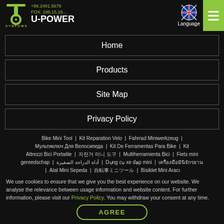SYNPOWELL U-POWER — Language — Menu
Home
Products
Site Map
Privacy Policy
Bike Mini Tool | Kit Reparation Velo | Fahrrad Miniwerkzeug | Мультиключ Для Велосипеда | Kit De Ferramentas Para Bike | Kit Attrezzi Bici Portatile | 자전거 미니 도구 | Multiherramienta Bici | Fiets mini gereedschap | أداة الدراجة الصغيرة | Dụng cụ xe đạp mini | เครื่องมือมินิจักรยาน | Alat Mini Sepeda | 自転車ミニツール | Bisiklet Mini Aracı
We use cookies to ensure that we give you the best experience on our website. We analyse the relevance between usage information and website content. For further information, please visit our Privacy Policy. You may withdraw your consent at any time.
AGREE